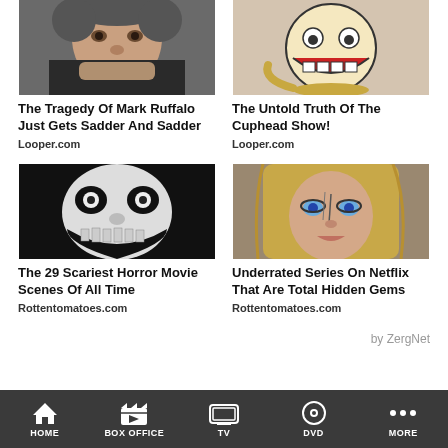[Figure (photo): Photo of Mark Ruffalo, a man with stubble in a dark jacket]
The Tragedy Of Mark Ruffalo Just Gets Sadder And Sadder
Looper.com
[Figure (illustration): Animated cartoon character from Cuphead Show with a wide grin]
The Untold Truth Of The Cuphead Show!
Looper.com
[Figure (photo): Black and white horror image of a frightening face with wide eyes and teeth]
The 29 Scariest Horror Movie Scenes Of All Time
Rottentomatoes.com
[Figure (photo): Young blonde woman with intense blue eyes and face markings]
Underrated Series On Netflix That Are Total Hidden Gems
Rottentomatoes.com
by ZergNet
HOME  BOX OFFICE  TV  DVD  MORE